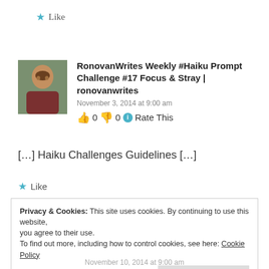★ Like
[Figure (photo): Avatar photo of a man]
RonovanWrites Weekly #Haiku Prompt Challenge #17 Focus & Stray | ronovanwrites
November 3, 2014 at 9:00 am
👍 0 👎 0 ℹ Rate This
[…] Haiku Challenges Guidelines […]
★ Like
Privacy & Cookies: This site uses cookies. By continuing to use this website, you agree to their use.
To find out more, including how to control cookies, see here: Cookie Policy
Close and accept
November 10, 2014 at 9:00 am